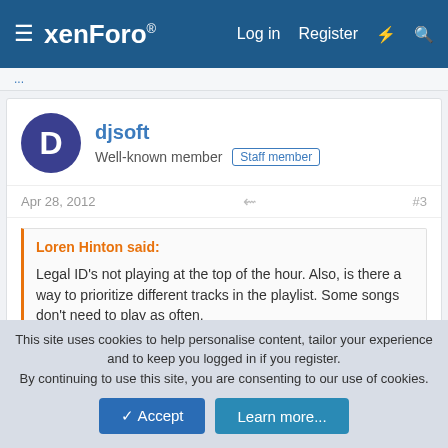xenForo — Log in | Register
djsoft
Well-known member Staff member
Apr 28, 2012 #3
Loren Hinton said:
Legal ID's not playing at the top of the hour. Also, is there a way to prioritize different tracks in the playlist. Some songs don't need to play as often.
To play ID's you should use scheduler: create event which will start at the hours you need.
Track priorities are not available yet.
This site uses cookies to help personalise content, tailor your experience and to keep you logged in if you register.
By continuing to use this site, you are consenting to our use of cookies.
Accept  Learn more...